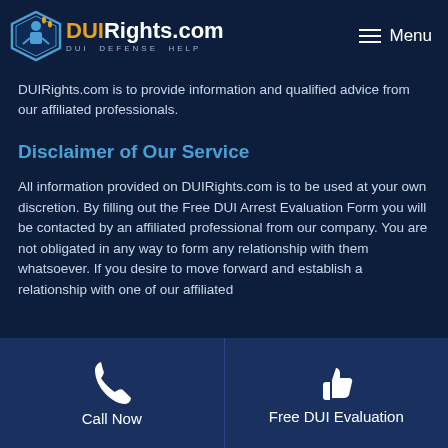DUIRights.com — DUI DEFENSE HELP | Menu
DUIRights.com is to provide information and qualified advice from our affiliated professionals.
Disclaimer of Our Service
All information provided on DUIRights.com is to be used at your own discretion. By filling out the Free DUI Arrest Evaluation Form you will be contacted by an affiliated professional from our company. You are not obligated in any way to form any relationship with them whatsoever. If you desire to move forward and establish a relationship with one of our affiliated
Call Now | Free DUI Evaluation